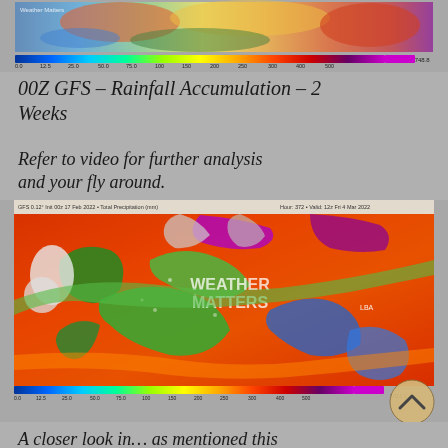[Figure (map): GFS rainfall accumulation map showing weather patterns with color-coded precipitation, top strip with color scale bar]
00Z GFS – Rainfall Accumulation – 2 Weeks
Refer to video for further analysis and your fly around.
[Figure (map): GFS 0.12 degree rainfall accumulation map dated 17 Feb 2022, Total Precipitation (mm), Hour 372, Valid 12z Fri 4 Mar 2022, showing colorful weather patterns over Australia with Weather Matters watermark and scroll button]
A closer look in… as mentioned this